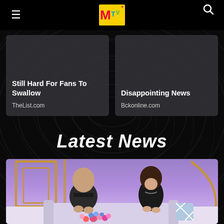MTV
[Figure (screenshot): Article card: Still Hard For Fans To Swallow, source TheList.com]
[Figure (screenshot): Article card: Disappointing News, source Bckonline.com]
Latest News
[Figure (photo): Two people sitting on a couch in a TV studio setting with colorful flowers and purple/blue background with gold geometric shapes]